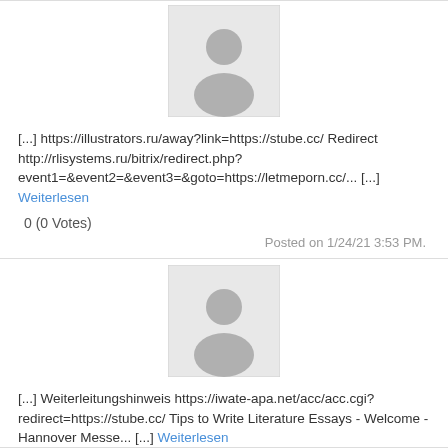[Figure (photo): Anonymous user avatar placeholder (gray silhouette on light gray background)]
[...] https://illustrators.ru/away?link=https://stube.cc/ Redirect http://rlisystems.ru/bitrix/redirect.php?event1=&event2=&event3=&goto=https://letmeporn.cc/... [...] Weiterlesen
0 (0 Votes)
Posted on 1/24/21 3:53 PM.
[Figure (photo): Anonymous user avatar placeholder (gray silhouette on light gray background)]
[...] Weiterleitungshinweis https://iwate-apa.net/acc/acc.cgi?redirect=https://stube.cc/ Tips to Write Literature Essays - Welcome - Hannover Messe... [...] Weiterlesen
0 (0 Votes)
Posted on 1/24/21 7:23 PM.